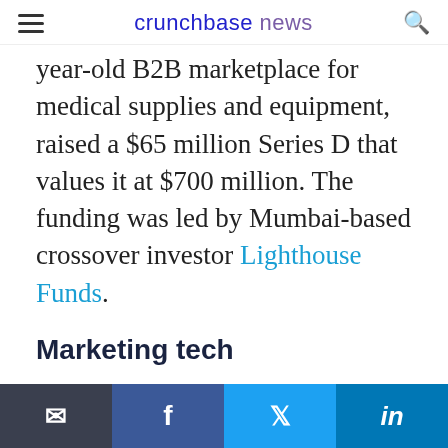crunchbase news
year-old B2B marketplace for medical supplies and equipment, raised a $65 million Series D that values it at $700 million. The funding was led by Mumbai-based crossover investor Lighthouse Funds.
Marketing tech
San Francisco-based Mutiny, a 3-year-old company that helps
Email | Facebook | Twitter | LinkedIn